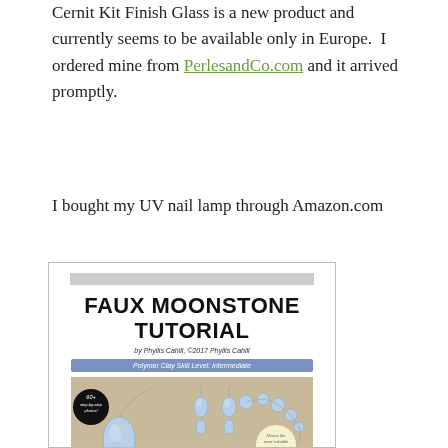Cernit Kit Finish Glass is a new product and currently seems to be available only in Europe. I ordered mine from PerlesandCo.com and it arrived promptly.
I bought my UV nail lamp through Amazon.com
[Figure (illustration): Cover of the Faux Moonstone Tutorial by Phyllis Cahill, ©2017. Shows title in large bold text, author name, a blue skill level banner reading 'Polymer Clay Skill Level: Intermediate', a photo area with blue moonstone jewelry (pendant, earrings, bracelet) on a tan background, a black circular badge reading '60+ step-by-step photos!', a cream badge reading 'Mimics the most valuable moonstones', and text 'LEARN TO: make faux moonstone cabochons and beads' followed by additional text.]